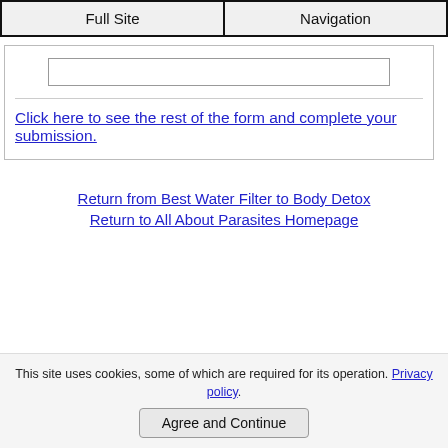Full Site | Navigation
[Figure (screenshot): Empty text input field inside a bordered form section]
Click here to see the rest of the form and complete your submission.
Return from Best Water Filter to Body Detox
Return to All About Parasites Homepage
This site uses cookies, some of which are required for its operation. Privacy policy.
Agree and Continue